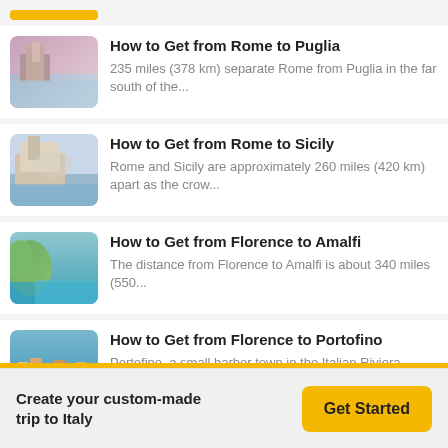How to Get from Rome to Puglia — 235 miles (378 km) separate Rome from Puglia in the far south of the...
How to Get from Rome to Sicily — Rome and Sicily are approximately 260 miles (420 km) apart as the crow...
How to Get from Florence to Amalfi — The distance from Florence to Amalfi is about 340 miles (550...
How to Get from Florence to Portofino — Portofino, a small harbor town in the Italian Riviera known for its...
How to Get From Tuscany to the Amalfi Coast — Tuscany and the Amalfi Coast are approximately...
Create your custom-made trip to Italy
Get Started